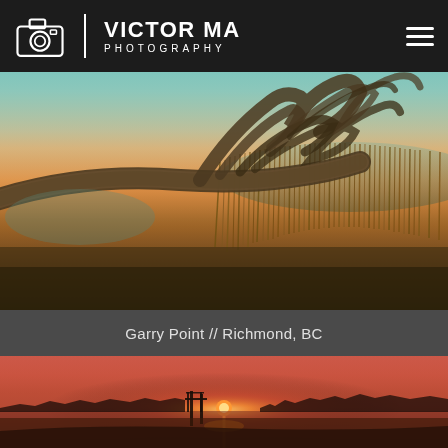VICTOR MA PHOTOGRAPHY
[Figure (photo): Landscape photo of driftwood log on beach at sunset with marsh grasses and water in background, Garry Point, Richmond BC]
Garry Point // Richmond, BC
[Figure (photo): Landscape photo of sunset over water with silhouetted pier/dock structure, warm orange and red tones]